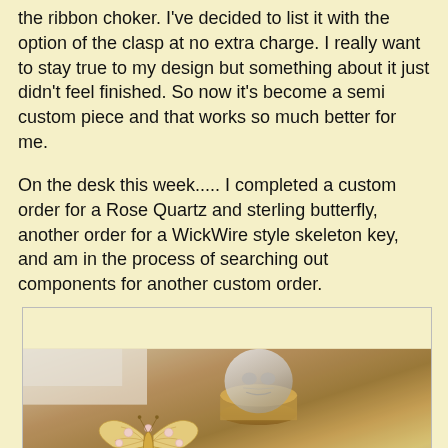the ribbon choker. I've decided to list it with the option of the clasp at no extra charge. I really want to stay true to my design but something about it just didn't feel finished. So now it's become a semi custom piece and that works so much better for me.
On the desk this week..... I completed a custom order for a Rose Quartz and sterling butterfly, another order for a WickWire style skeleton key, and am in the process of searching out components for another custom order.
[Figure (photo): Photo of a decorative butterfly brooch with rose quartz stones and gold filigree wings, placed on a brass surface next to a crystal skull paperweight and small metal keys/rings.]